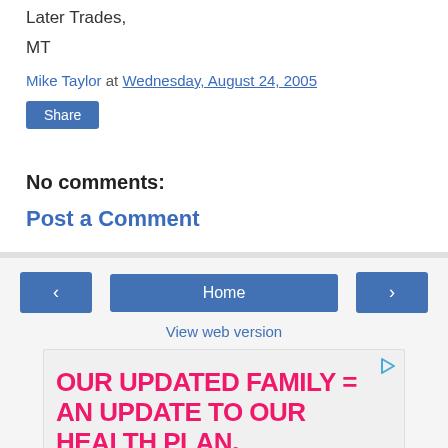Later Trades,
MT
Mike Taylor at Wednesday, August 24, 2005
Share
No comments:
Post a Comment
‹
Home
›
View web version
[Figure (other): Advertisement banner: 'OUR UPDATED FAMILY = AN UPDATE TO OUR HEALTH PLAN.' in pink/magenta bold text on light background, with a small play icon in top right corner and a photo strip at the bottom.]